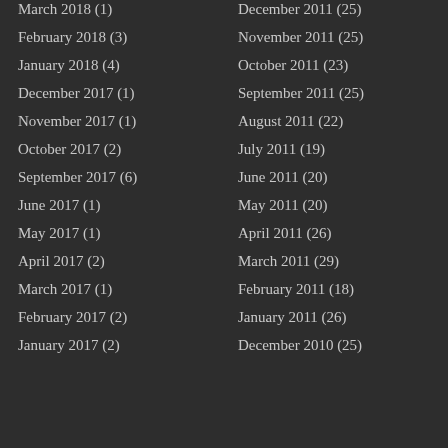March 2018 (1)
February 2018 (3)
January 2018 (4)
December 2017 (1)
November 2017 (1)
October 2017 (2)
September 2017 (6)
June 2017 (1)
May 2017 (1)
April 2017 (2)
March 2017 (1)
February 2017 (2)
January 2017 (2)
December 2011 (25)
November 2011 (25)
October 2011 (23)
September 2011 (25)
August 2011 (22)
July 2011 (19)
June 2011 (20)
May 2011 (20)
April 2011 (26)
March 2011 (29)
February 2011 (18)
January 2011 (26)
December 2010 (25)